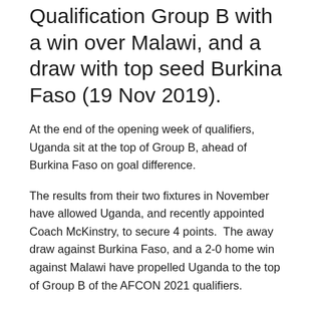Qualification Group B with a win over Malawi, and a draw with top seed Burkina Faso (19 Nov 2019).
At the end of the opening week of qualifiers, Uganda sit at the top of Group B, ahead of Burkina Faso on goal difference.
The results from their two fixtures in November have allowed Uganda, and recently appointed Coach McKinstry, to secure 4 points.  The away draw against Burkina Faso, and a 2-0 home win against Malawi have propelled Uganda to the top of Group B of the AFCON 2021 qualifiers.
Burkina Faso (Away, 13 Nov 2019 )
Uganda opened their AFCON 2021 Qualification